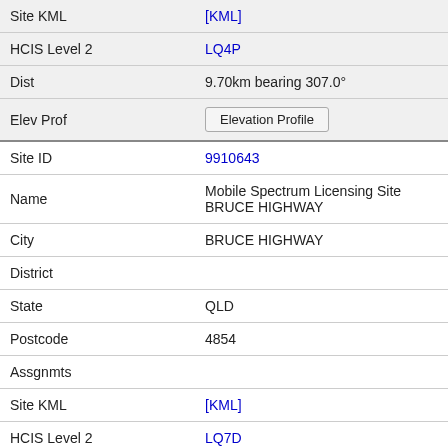| Field | Value |
| --- | --- |
| Site KML | [KML] |
| HCIS Level 2 | LQ4P |
| Dist | 9.70km bearing 307.0° |
| Elev Prof | Elevation Profile |
| Site ID | 9910643 |
| Name | Mobile Spectrum Licensing Site BRUCE HIGHWAY |
| City | BRUCE HIGHWAY |
| District |  |
| State | QLD |
| Postcode | 4854 |
| Assgnmts |  |
| Site KML | [KML] |
| HCIS Level 2 | LQ7D |
| Dist | 9.73km bearing 176.4° |
| Elev Prof | Elevation Profile |
| Site ID | 9003434 |